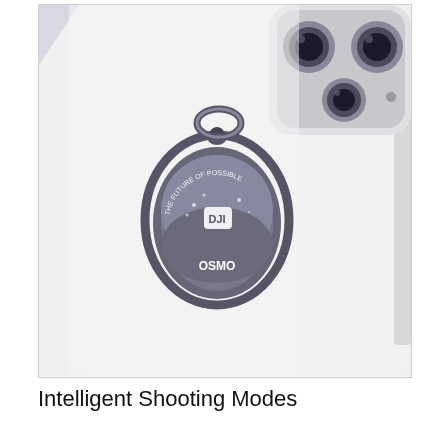[Figure (photo): Close-up photo of a white iPhone with a DJI Osmo branded ring holder attached to the back. The ring holder is oval/circular in shape with dark metallic finish, featuring the DJI logo and text 'THE FUTURE OF POSSIBLE' and 'OSMO'. The phone's triple camera system is partially visible in the top right corner. The background is light lavender/gray.]
Intelligent Shooting Modes